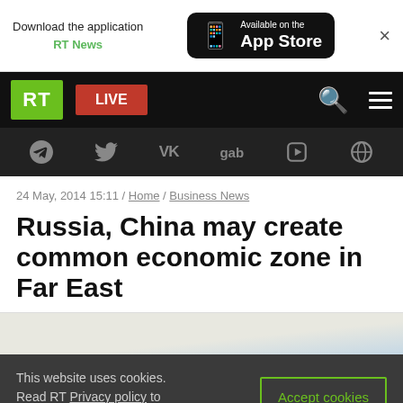Download the application RT News / Available on the App Store
[Figure (screenshot): RT news website navigation bar with RT logo, LIVE button, search and menu icons]
[Figure (screenshot): Social media icons bar: Telegram, Twitter, VK, gab, Rumble, other]
24 May, 2014 15:11 / Home / Business News
Russia, China may create common economic zone in Far East
[Figure (photo): Partial article image at bottom of page]
This website uses cookies. Read RT Privacy policy to find out more. Accept cookies